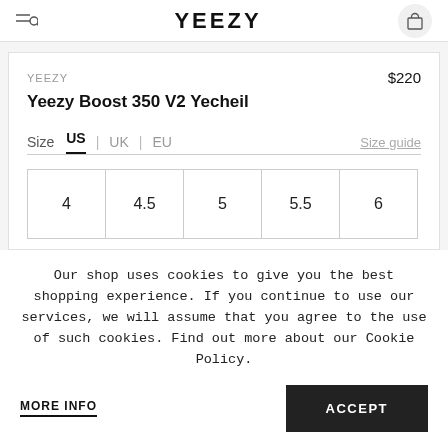YEEZY
YEEZY
$220
Yeezy Boost 350 V2 Yecheil
Size  US  |  UK  |  EU  Size guide
4  4.5  5  5.5  6
Our shop uses cookies to give you the best shopping experience. If you continue to use our services, we will assume that you agree to the use of such cookies. Find out more about our Cookie Policy.
MORE INFO
ACCEPT